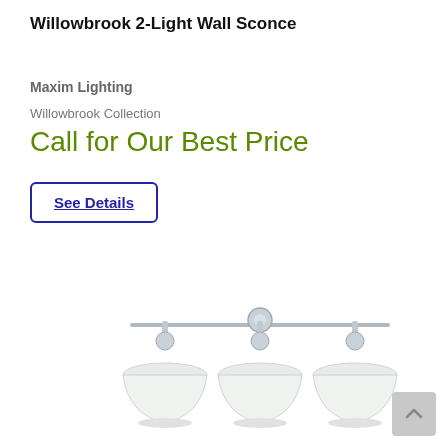Willowbrook 2-Light Wall Sconce
Maxim Lighting
Willowbrook Collection
Call for Our Best Price
See Details
[Figure (photo): Three-light chrome wall sconce with white globe shades mounted on a horizontal bar]